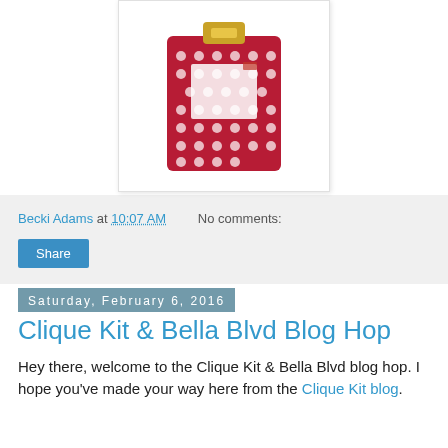[Figure (illustration): A red polka-dot clipboard with a gold clip and a small white note tucked under the clip, displayed on a white card with subtle shadow border.]
Becki Adams at 10:07 AM   No comments:
Share
Saturday, February 6, 2016
Clique Kit & Bella Blvd Blog Hop
Hey there, welcome to the Clique Kit & Bella Blvd blog hop. I hope you've made your way here from the Clique Kit blog.